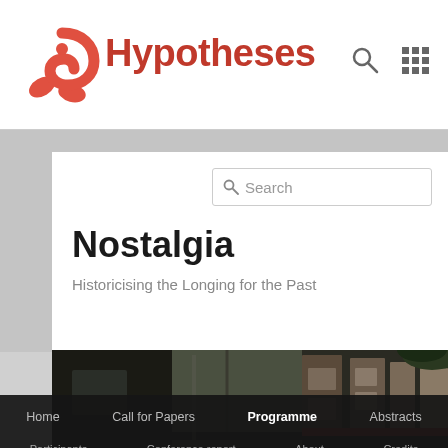Hypotheses
Nostalgia
Historicising the Longing for the Past
[Figure (photo): A vintage train viewed from the side/platform perspective, the carriages curving away into the distance with trees in the background. Dark moody photograph.]
Home | Call for Papers | Programme | Abstracts | Participants | Conference report | About | Credits